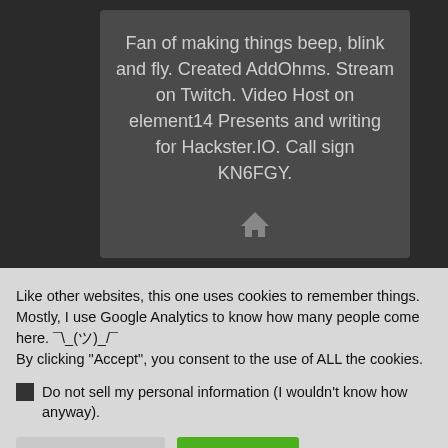Fan of making things beep, blink and fly. Created AddOhms. Stream on Twitch. Video Host on element14 Presents and writing for Hackster.IO. Call sign KN6FGY.
[Figure (other): Home/house icon]
Like other websites, this one uses cookies to remember things. Mostly, I use Google Analytics to know how many people come here. ¯\_(ツ)_/¯
By clicking "Accept", you consent to the use of ALL the cookies.
Do not sell my personal information (I wouldn't know how anyway).